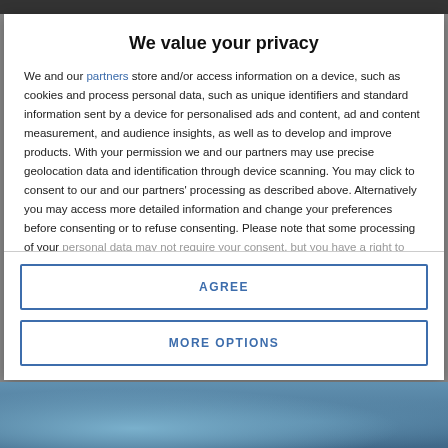We value your privacy
We and our partners store and/or access information on a device, such as cookies and process personal data, such as unique identifiers and standard information sent by a device for personalised ads and content, ad and content measurement, and audience insights, as well as to develop and improve products. With your permission we and our partners may use precise geolocation data and identification through device scanning. You may click to consent to our and our partners' processing as described above. Alternatively you may access more detailed information and change your preferences before consenting or to refuse consenting. Please note that some processing of your personal data may not require your consent, but you have a right to
AGREE
MORE OPTIONS
[Figure (photo): Partial photo visible at the bottom of the page, appears to show outdoor scene with blue/teal tones]